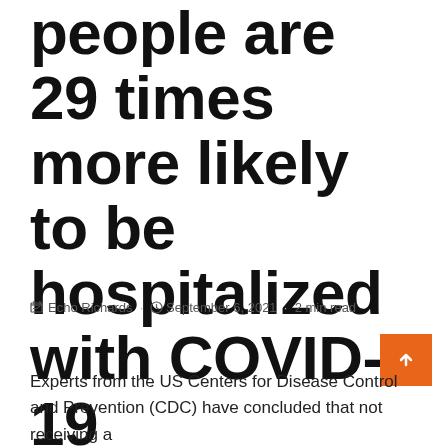people are 29 times more likely to be hospitalized with COVID-19
Echo Richards · September 6, 2021 · 2 min read
Experts from the US Centers for Disease Control and Prevention (CDC) have concluded that not receiving a